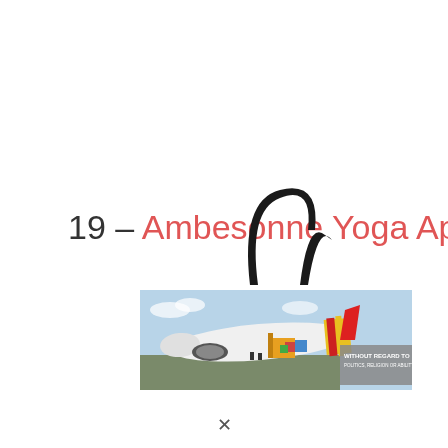19 – Ambesonne Yoga Apron
[Figure (photo): Product photo of an Ambesonne Yoga Apron - a long narrow tote bag with black strap handle printed with an airplane cargo loading scene. The bag shows an aircraft being loaded with freight on a tarmac, with text 'WITHOUT REGARD TO POLITICS, RELIGION OR ABILITY TO PAY' on the right side.]